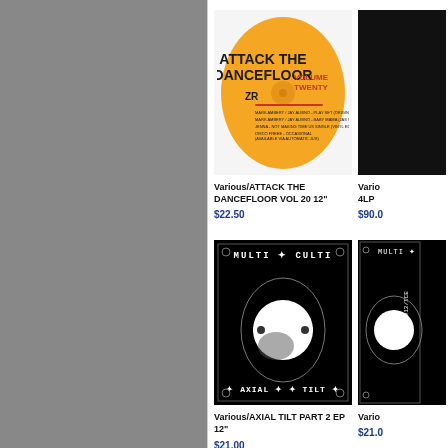[Figure (illustration): Orange vinyl record label for 'Attack The Dancefloor Volume Twenty' on ZR records]
Various/ATTACK THE DANCEFLOOR VOL 20 12"
$22.50
[Figure (illustration): Partially visible black album cover for a Various release, 4LP]
Various/4LP
$90.00
[Figure (illustration): Black and white album cover for Multi Culti 'Axial Tilt Part 2 EP' 12 inch, with circular moon phase graphic]
Various/AXIAL TILT PART 2 EP 12"
$21.00
[Figure (illustration): Partially visible black and white Multi Culti album cover]
Various/
$21.00